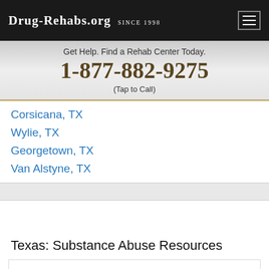Drug-Rehabs.org Since 1998
Get Help. Find a Rehab Center Today.
1-877-882-9275
(Tap to Call)
Corsicana, TX
Wylie, TX
Georgetown, TX
Van Alstyne, TX
Texas: Substance Abuse Resources
Te... Chat now